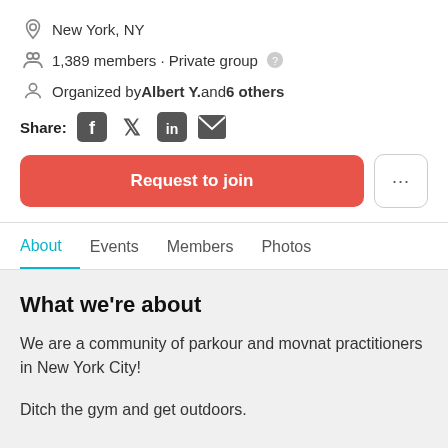New York, NY
1,389 members · Private group
Organized by Albert Y. and 6 others
Share:
[Figure (screenshot): Request to join button (red/coral) and more options button (...)]
About  Events  Members  Photos
What we're about
We are a community of parkour and movnat practitioners in New York City!
Ditch the gym and get outdoors.